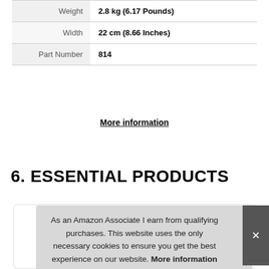|  |  |
| --- | --- |
| Weight | 2.8 kg (6.17 Pounds) |
| Width | 22 cm (8.66 Inches) |
| Part Number | 814 |
More information
6. ESSENTIAL PRODUCTS
[Figure (photo): Product card with a product image (partially visible), overlaid by a cookie consent banner]
As an Amazon Associate I earn from qualifying purchases. This website uses the only necessary cookies to ensure you get the best experience on our website. More information